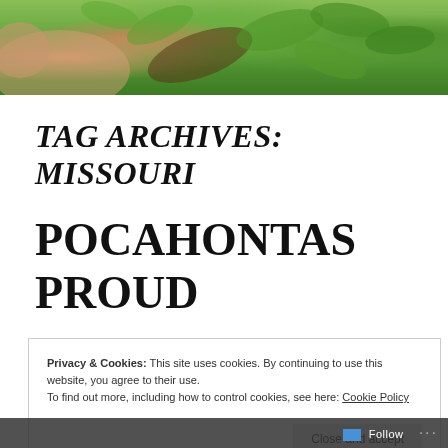[Figure (photo): Photo banner showing green leaves and plants with a hand or skin-toned element on the left side, viewed from above]
TAG ARCHIVES: MISSOURI
POCAHONTAS PROUD
Privacy & Cookies: This site uses cookies. By continuing to use this website, you agree to their use.
To find out more, including how to control cookies, see here: Cookie Policy
Close and accept